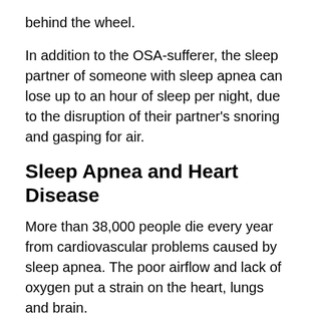behind the wheel.
In addition to the OSA-sufferer, the sleep partner of someone with sleep apnea can lose up to an hour of sleep per night, due to the disruption of their partner's snoring and gasping for air.
Sleep Apnea and Heart Disease
More than 38,000 people die every year from cardiovascular problems caused by sleep apnea. The poor airflow and lack of oxygen put a strain on the heart, lungs and brain.
When your heart is regularly under stress, it has to work extra hard to keep up. A strain on your heart and your blood vessels leads to lifelong illnesses and hypertension or can result in more